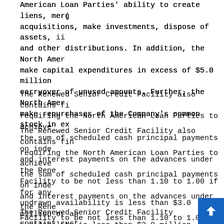American Loan Parties' ability to create liens, mergers, acquisitions, make investments, dispose of assets, and other distributions. In addition, the North American Loan Parties make capital expenditures in excess of $5.0 million carryover of unused amounts. Further, the North American Loan Parties make repurchases of the Company's common stock in excess...
The Renewed Senior Credit Facility also contains financial covenants requiring the North American Loan Parties to achieve the sum of scheduled cash principal payments on indebtedness and interest payments on the advances under the Renewed Senior Credit Facility to be not less than 1.10 to 1.00 if for any period undrawn availability is less than $3.0 million or availability is less than $2.0 million. As of April the ratio was greater than 1.10 to 1.00. In order to cure the FCCR covenant by the North American Loan Parties, the cash from any of its foreign subsidiaries that are outside the Renewed Senior Credit Facility in an amount which, when added to the Company's Consolidated EBITDA, would result in passing the covenant. The Company was in compliance with these covenants as of 2022.
The Renewed Senior Credit Facility contains customary events of default. If an event of default occurs and is continuing, then the lenders may terminate their commitments to extend further credit and declare all...